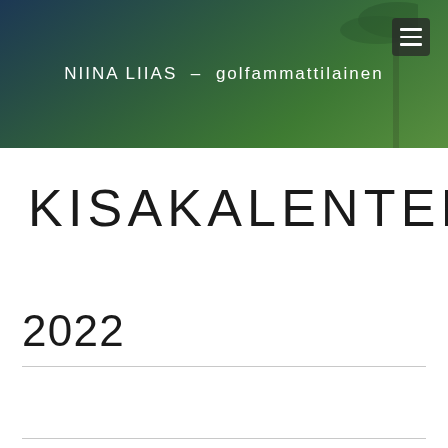NIINA LIIAS  –  golfammattilainen
KISAKALENTERI
2022
LETACCESS.COM